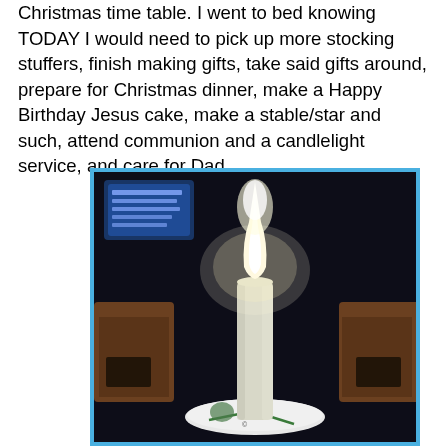Christmas time table. I went to bed knowing TODAY I would need to pick up more stocking stuffers, finish making gifts, take said gifts around, prepare for Christmas dinner, make a Happy Birthday Jesus cake, make a stable/star and such, attend communion and a candlelight service, and care for Dad.
[Figure (photo): Photograph of a lit white candle in a dark church or indoor setting. The candle has a bright glowing flame with a blue base. The candle sits on a white circular holder. In the background are dark pews and a blue-lit screen with text projected on it.]